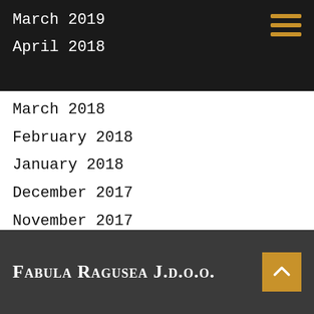March 2019
April 2018
March 2018
February 2018
January 2018
December 2017
November 2017
April 2017
March 2017
Fabula Ragusea J.d.o.o.